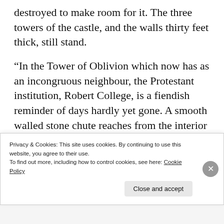destroyed to make room for it. The three towers of the castle, and the walls thirty feet thick, still stand.
“In the Tower of Oblivion which now has as an incongruous neighbour, the Protestant institution, Robert College, is a fiendish reminder of days hardly yet gone. A smooth walled stone chute reaches from the interior of the tower down into the Bosporus. Into the mouth of this the hapless victim, bound and gagged perhaps, with weights attached to his
Privacy & Cookies: This site uses cookies. By continuing to use this website, you agree to their use.
To find out more, including how to control cookies, see here: Cookie Policy
Close and accept